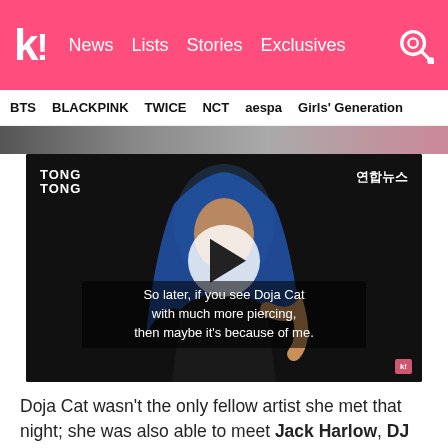k! News  Lists  Stories  Exclusives
BTS  BLACKPINK  TWICE  NCT  aespa  Girls' Generation
[Figure (screenshot): Video thumbnail showing a woman with blue hair on a dark background. Play button overlay in center. Watermarks: TONG TONG (top left), 연합뉴스 (top right). Subtitle text: 'So later, if you see Doja Cat with much more piercing, then maybe it's because of me.']
Doja Cat wasn't the only fellow artist she met that night; she was also able to meet Jack Harlow, DJ Khaled, Chloe Bailey (also known